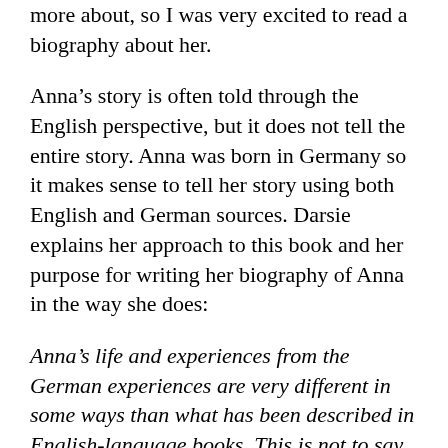more about, so I was very excited to read a biography about her.
Anna's story is often told through the English perspective, but it does not tell the entire story. Anna was born in Germany so it makes sense to tell her story using both English and German sources. Darsie explains her approach to this book and her purpose for writing her biography of Anna in the way she does:
Anna's life and experiences from the German experiences are very different in some ways than what has been described in English-language books. This is not to say that any English